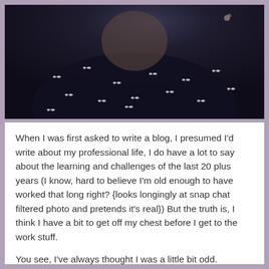[Figure (photo): A person wearing a dark navy/black top with a small white bird or butterfly print pattern. The photo is cropped to show the torso and lower face area only. Dark, slightly blurry indoor photo.]
When I was first asked to write a blog, I presumed I'd write about my professional life, I do have a lot to say about the learning and challenges of the last 20 plus years (I know, hard to believe I'm old enough to have worked that long right? {looks longingly at snap chat filtered photo and pretends it's real}) But the truth is, I think I have a bit to get off my chest before I get to the work stuff.
You see, I've always thought I was a little bit odd.